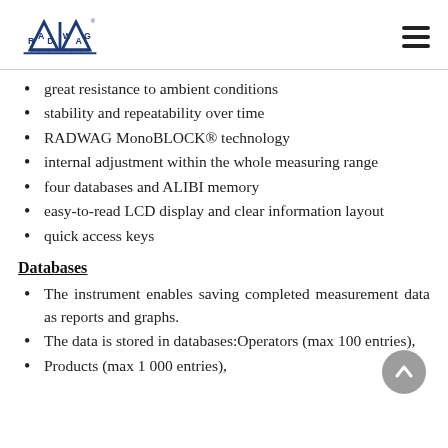RADWAG logo and navigation
great resistance to ambient conditions
stability and repeatability over time
RADWAG MonoBLOCK® technology
internal adjustment within the whole measuring range
four databases and ALIBI memory
easy-to-read LCD display and clear information layout
quick access keys
Databases
The instrument enables saving completed measurement data as reports and graphs.
The data is stored in databases:Operators (max 100 entries),
Products (max 1 000 entries),